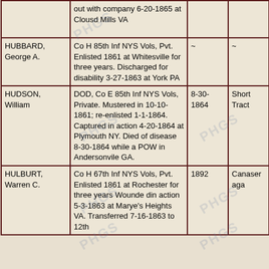| Name | Service Record | Death Date | Place |
| --- | --- | --- | --- |
|  | out with company 6-20-1865 at Clousd Mills VA |  |  |
| HUBBARD, George A. | Co H 85th Inf NYS Vols, Pvt. Enlisted 1861 at Whitesville for three years. Discharged for disability 3-27-1863 at York PA | ~ | ~ |
| HUDSON, William | DOD, Co E 85th Inf NYS Vols, Private. Mustered in 10-10-1861; re-enlisted 1-1-1864. Captured in action 4-20-1864 at Plymouth NY. Died of disease 8-30-1864 while a POW in Andersonvile GA. | 8-30-1864 | Short Tract |
| HULBURT, Warren C. | Co H 67th Inf NYS Vols, Pvt. Enlisted 1861 at Rochester for three years Wounde din action 5-3-1863 at Marye's Heights VA. Transferred 7-16-1863 to 12th | 1892 | Canaseraga |